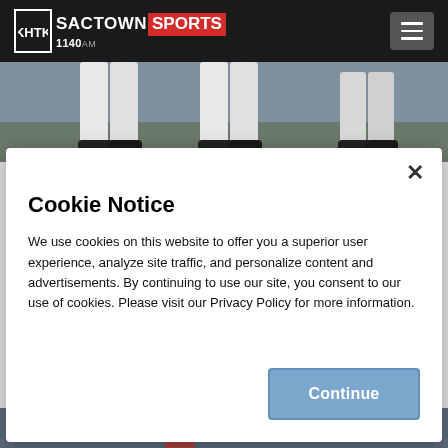SACTOWN SPORTS 1140AM
[Figure (photo): Baseball players legs in white uniforms on field]
Cookie Notice
We use cookies on this website to offer you a superior user experience, analyze site traffic, and personalize content and advertisements. By continuing to use our site, you consent to our use of cookies. Please visit our Privacy Policy for more information.
[Figure (photo): Baseball player in Giants uniform at bottom of page]